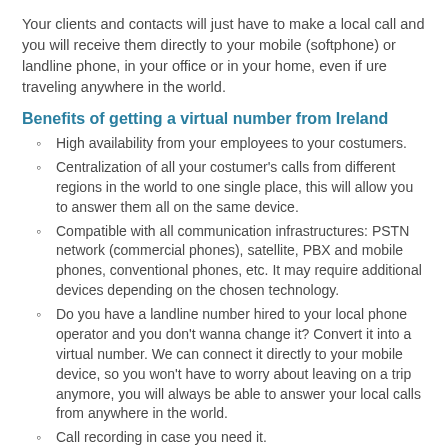Your clients and contacts will just have to make a local call and you will receive them directly to your mobile (softphone) or landline phone, in your office or in your home, even if ure traveling anywhere in the world.
Benefits of getting a virtual number from Ireland
High availability from your employees to your costumers.
Centralization of all your costumer's calls from different regions in the world to one single place, this will allow you to answer them all on the same device.
Compatible with all communication infrastructures: PSTN network (commercial phones), satellite, PBX and mobile phones, conventional phones, etc. It may require additional devices depending on the chosen technology.
Do you have a landline number hired to your local phone operator and you don't wanna change it? Convert it into a virtual number. We can connect it directly to your mobile device, so you won't have to worry about leaving on a trip anymore, you will always be able to answer your local calls from anywhere in the world.
Call recording in case you need it.
Group ring: if a call comes in, it will ring on multiple